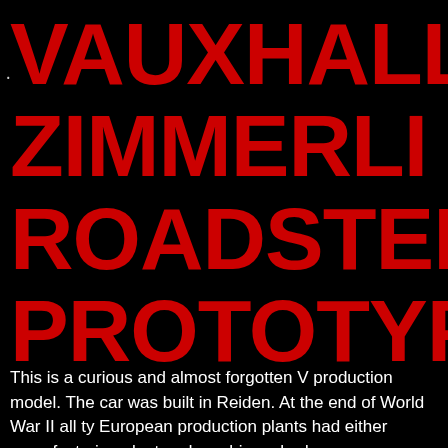VAUXHALL L ZIMMERLI VE ROADSTER PROTOTYPE
This is a curious and almost forgotten V production model. The car was built in Reiden. At the end of World War II all ty European production plants had either manufacturing plant and machinery had